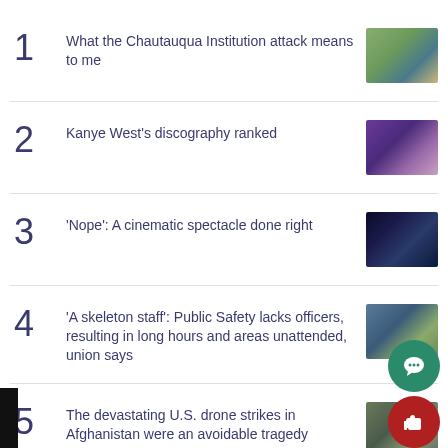1 What the Chautauqua Institution attack means to me
2 Kanye West's discography ranked
3 'Nope': A cinematic spectacle done right
4 'A skeleton staff': Public Safety lacks officers, resulting in long hours and areas unattended, union says
5 The devastating U.S. drone strikes in Afghanistan were an avoidable tragedy